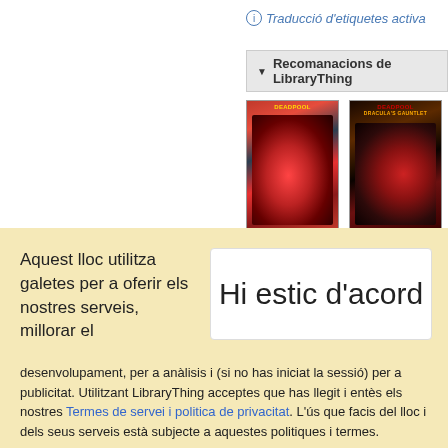Traducció d'etiquetes activa
Recomanacions de LibraryThing
[Figure (photo): Two Deadpool comic book covers side by side]
Aquest lloc utilitza galetes per a oferir els nostres serveis, millorar el
Hi estic d'acord
desenvolupament, per a anàlisis i (si no has iniciat la sessió) per a publicitat. Utilitzant LibraryThing acceptes que has llegit i entès els nostres Termes de servei i politica de privacitat. L'ús que facis del lloc i dels seus serveis està subjecte a aquestes politiques i termes.